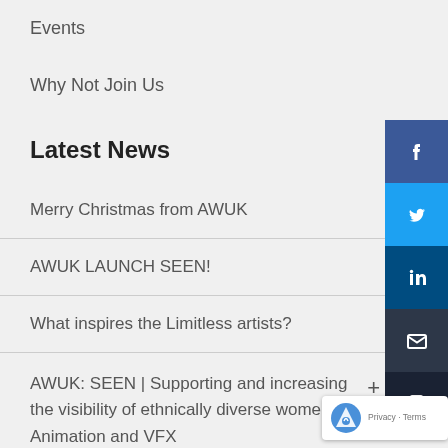Events
Why Not Join Us
Latest News
Merry Christmas from AWUK
AWUK LAUNCH SEEN!
What inspires the Limitless artists?
AWUK: SEEN | Supporting and increasing the visibility of ethnically diverse women in Animation and VFX
Limitless V- Exhibition Opens Its Virtual Doors!